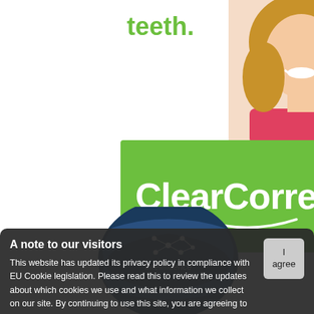[Figure (photo): Advertisement for ClearCorrect dental aligners showing partial green text 'teeth.' and a smiling woman with a green brand banner showing 'ClearCorrect™' logo with a smile arc beneath it]
[Figure (logo): Intellifluence badge/seal - dark blue circular emblem with network graph icon and text 'Intellifluence' partially visible]
A note to our visitors
This website has updated its privacy policy in compliance with EU Cookie legislation. Please read this to review the updates about which cookies we use and what information we collect on our site. By continuing to use this site, you are agreeing to our updated privacy policy. Read More here: